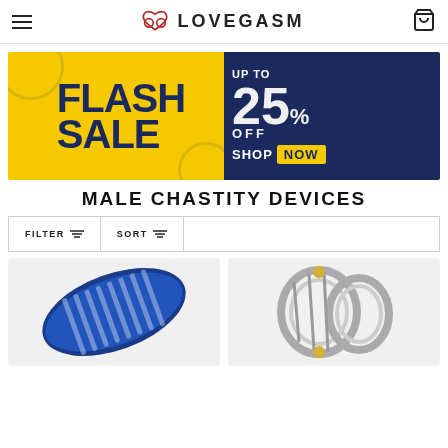LOVEGASM
[Figure (infographic): Flash Sale banner: left half yellow background with FLASH SALE text in dark navy, right half dark navy background with UP TO 25% OFF SHOP NOW text]
MALE CHASTITY DEVICES
FILTER   SORT
[Figure (photo): Blue male chastity device product photo on left, metallic/chrome chastity cage product on right]